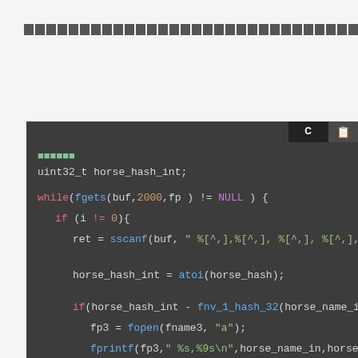█████████████████████████████████████████████
[Figure (screenshot): Dark-themed C code editor screenshot showing C code with syntax highlighting. Code includes: uint32_t horse_hash_int; while(fgets(buf,2000,fp) != NULL) { if (i != 0){ ret = sscanf(buf, " %[^,],%[^,], %[^,], %[^,], %[^,], %[^,], %"; horse_hash_int = atoi(horse_hash); if(horse_hash_int - fnv_1_hash_32(horse_name_in) == 0) { fp3 = fopen(fname3, "a"); fprintf(fp3," %s,%9s\n",horse_name_in,horseID); fclose(fp3); b ++; break; } } } i ++;]